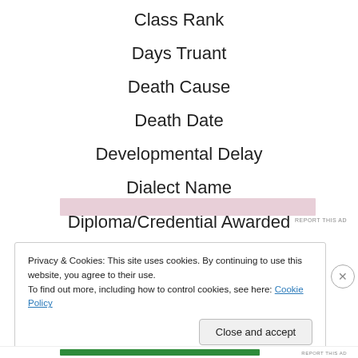Class Rank
Days Truant
Death Cause
Death Date
Developmental Delay
Dialect Name
Diploma/Credential Awarded
Discontinuing Schooling Reason
Privacy & Cookies: This site uses cookies. By continuing to use this website, you agree to their use. To find out more, including how to control cookies, see here: Cookie Policy
Close and accept